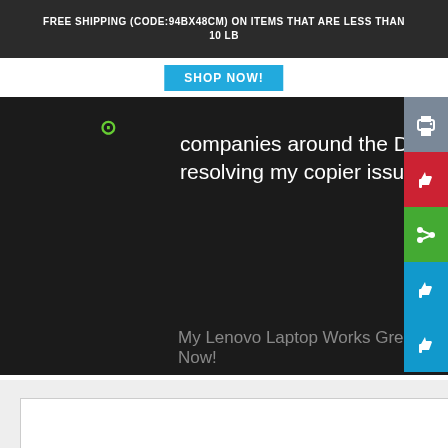FREE SHIPPING (CODE:94BX48CM) ON ITEMS THAT ARE LESS THAN 10 LB
SHOP NOW!
companies around the DC metro area that kept charging me without resolving my copier issues. I called Kensington Office Machi
My Lenovo Laptop Works Great Now!
[Figure (screenshot): White/light gray lower area with an inner white box, partially visible]